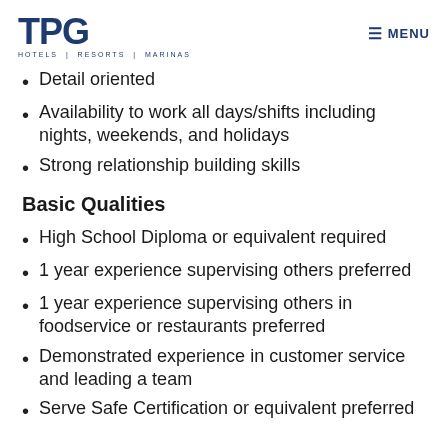TPG HOTELS | RESORTS | MARINAS  ☰ MENU
Detail oriented
Availability to work all days/shifts including nights, weekends, and holidays
Strong relationship building skills
Basic Qualities
High School Diploma or equivalent required
1 year experience supervising others preferred
1 year experience supervising others in foodservice or restaurants preferred
Demonstrated experience in customer service and leading a team
Serve Safe Certification or equivalent preferred